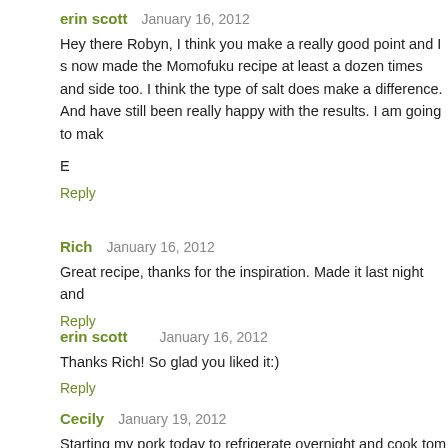erin scott    January 16, 2012
Hey there Robyn, I think you make a really good point and I s now made the Momofuku recipe at least a dozen times and side too. I think the type of salt does make a difference. And have still been really happy with the results. I am going to mak
E
Reply
Rich    January 16, 2012
Great recipe, thanks for the inspiration. Made it last night and
Reply
erin scott    January 16, 2012
Thanks Rich! So glad you liked it:)
Reply
Cecily    January 19, 2012
Starting my pork today to refrigerate overnight and cook tom covered or uncovered? Lid? Foil? Instructions didn't mention